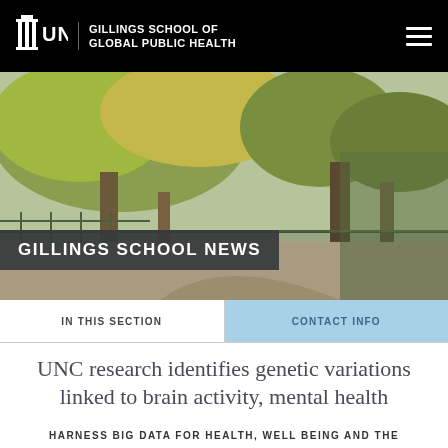UNC | Gillings School of Global Public Health
[Figure (photo): Outdoor campus path with large trees with yellow-green autumn foliage, fencing, and walkway]
GILLINGS SCHOOL NEWS
IN THIS SECTION
CONTACT INFO
UNC research identifies genetic variations linked to brain activity, mental health
HARNESS BIG DATA FOR HEALTH, WELL BEING AND THE